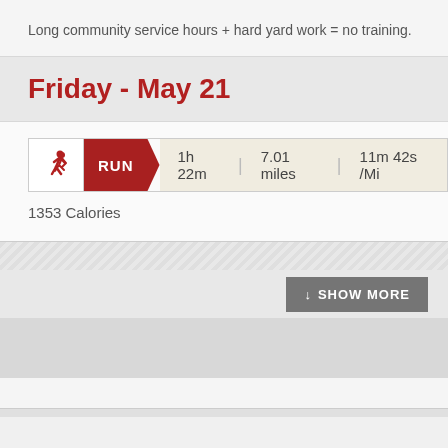Long community service hours + hard yard work = no training.
Friday - May 21
[Figure (infographic): Run activity bar showing RUN label with running icon, duration 1h 22m, distance 7.01 miles, pace 11m 42s /Mi]
1353 Calories